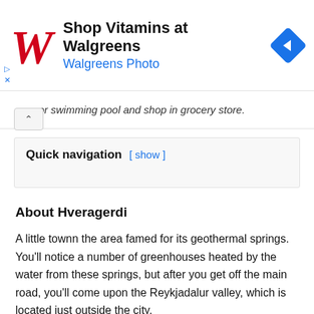[Figure (other): Walgreens advertisement banner with red W logo, 'Shop Vitamins at Walgreens' title, 'Walgreens Photo' subtitle in blue, and a blue diamond navigation icon on the right.]
am or swimming pool and shop in grocery store.
Quick navigation [ show ]
About Hveragerdi
A little townn the area famed for its geothermal springs. You'll notice a number of greenhouses heated by the water from these springs, but after you get off the main road, you'll come upon the Reykjadalur valley, which is located just outside the city.